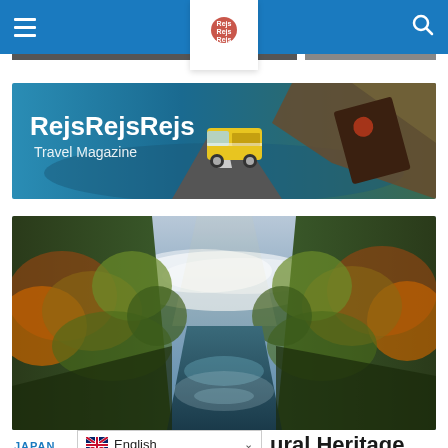RejsRejsRejs navigation bar with hamburger menu, logo, and search icon
[Figure (illustration): RejsRejsRejs Travel Magazine banner with yellow VW van on coastal road and branded card]
[Figure (photo): Scenic photo of autumn mountain gorge with reflective lake/river, mist over forest-covered peaks]
JAPAN
ural Heritage